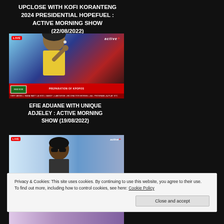UPCLOSE WITH KOFI KORANTENG 2024 PRESIDENTIAL HOPEFUEL : ACTIVE MORNING SHOW (22/08/2022)
[Figure (screenshot): TV broadcast screenshot showing a female host in yellow top on an Active TV live show, with red lower-third graphic reading PREPARATION OF KPOPOS]
EFIE ADUANE WITH UNIQUE ADJELEY : ACTIVE MORNING SHOW (19/08/2022)
[Figure (screenshot): TV broadcast screenshot showing a male presenter in suit on Active TV live show]
[Figure (screenshot): Partial TV broadcast screenshot at bottom of page, partially covered by cookie banner]
Privacy & Cookies: This site uses cookies. By continuing to use this website, you agree to their use.
To find out more, including how to control cookies, see here: Cookie Policy
Close and accept